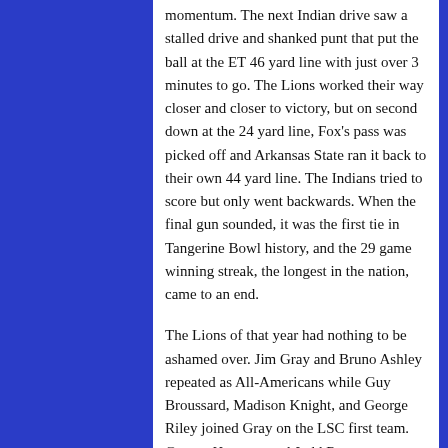momentum. The next Indian drive saw a stalled drive and shanked punt that put the ball at the ET 46 yard line with just over 3 minutes to go. The Lions worked their way closer and closer to victory, but on second down at the 24 yard line, Fox's pass was picked off and Arkansas State ran it back to their own 44 yard line. The Indians tried to score but only went backwards. When the final gun sounded, it was the first tie in Tangerine Bowl history, and the 29 game winning streak, the longest in the nation, came to an end.
The Lions of that year had nothing to be ashamed over. Jim Gray and Bruno Ashley repeated as All-Americans while Guy Broussard, Madison Knight, and George Riley joined Gray on the LSC first team. George Hartman and Judd Ramsey were on the LSC Second Team, and Bob Lundy and Jerry Lytle were LSC Honorable Mention.
It was Milburn Smith's final year in Commerce.